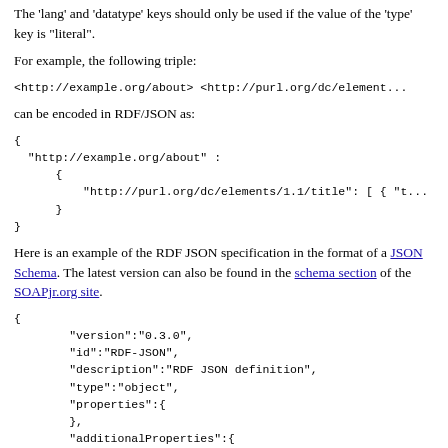The 'lang' and 'datatype' keys should only be used if the value of the 'type' key is "literal".
For example, the following triple:
<http://example.org/about> <http://purl.org/dc/element...
can be encoded in RDF/JSON as:
{
  "http://example.org/about" :
    {
      "http://purl.org/dc/elements/1.1/title": [ { "t...
    }
}
Here is an example of the RDF JSON specification in the format of a JSON Schema. The latest version can also be found in the schema section of the SOAPjr.org site.
{
        "version":"0.3.0",
        "id":"RDF-JSON",
        "description":"RDF JSON definition",
        "type":"object",
        "properties":{
        },
        "additionalProperties":{
            "type":"object"